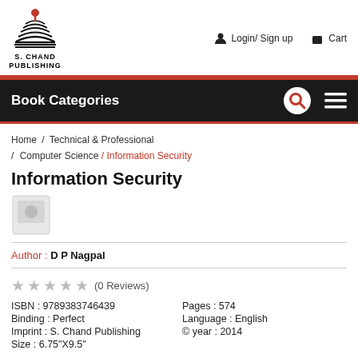[Figure (logo): S. Chand Publishing logo with stacked books and a pin/location marker on top]
Login/ Sign up   Cart
Book Categories
Home / Technical & Professional / Computer Science / Information Security
Information Security
[Figure (illustration): Small greyed-out book cover placeholder image]
Author : D P Nagpal
★ ★ ★ ★ ★ (0 Reviews)
ISBN : 9789383746439
Binding : Perfect
Imprint : S. Chand Publishing
Size : 6.75"X9.5"
Pages : 574
Language : English
© year : 2014